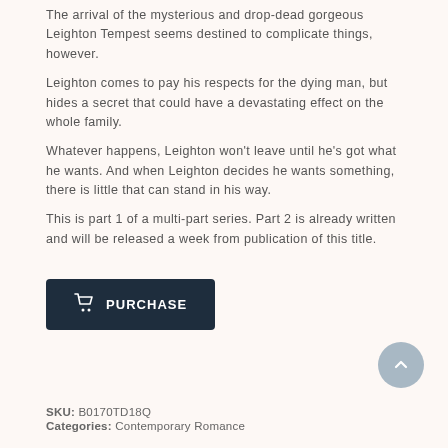The arrival of the mysterious and drop-dead gorgeous Leighton Tempest seems destined to complicate things, however.
Leighton comes to pay his respects for the dying man, but hides a secret that could have a devastating effect on the whole family.
Whatever happens, Leighton won't leave until he's got what he wants. And when Leighton decides he wants something, there is little that can stand in his way.
This is part 1 of a multi-part series. Part 2 is already written and will be released a week from publication of this title.
[Figure (other): Purchase button with shopping cart icon, dark navy background, white text reading 'Purchase']
SKU: B0170TD18Q
Categories: Contemporary Romance